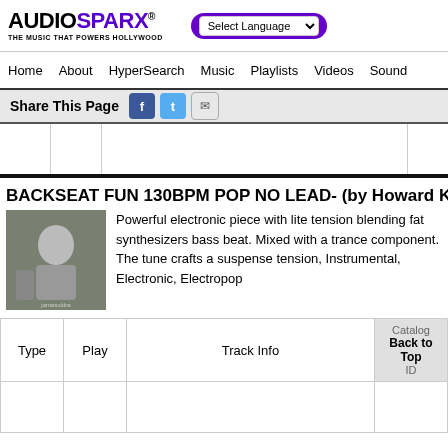[Figure (logo): AudioSparx logo with tagline 'The Music That Powers Hollywood']
Select Language
Home   About   HyperSearch   Music   Playlists   Videos   Sound
Share This Page
BACKSEAT FUN 130BPM POP NO LEAD- (by Howard K
Powerful electronic piece with lite tension blending fat synthesizers bass beat. Mixed with a trance component. The tune crafts a suspense tension, Instrumental, Electronic, Electropop
| Type | Play | Track Info | Catalog ID |
| --- | --- | --- | --- |
|  |  |  |  |